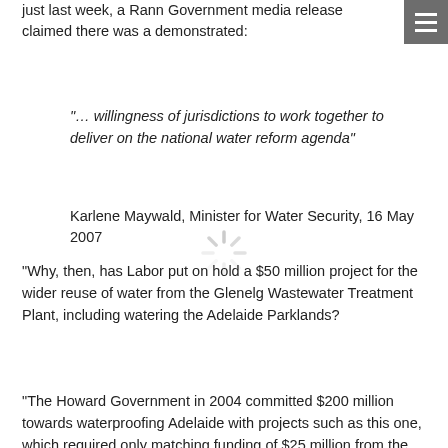just last week, a Rann Government media release claimed there was a demonstrated:
“… willingness of jurisdictions to work together to deliver on the national water reform agenda”  Karlene Maywald, Minister for Water Security, 16 May 2007
“Why, then, has Labor put on hold a $50 million project for the wider reuse of water from the Glenelg Wastewater Treatment Plant, including watering the Adelaide Parklands?
“The Howard Government in 2004 committed $200 million towards waterproofing Adelaide with projects such as this one, which required only matching funding of $25 million from the Rann Government. This funding has not been